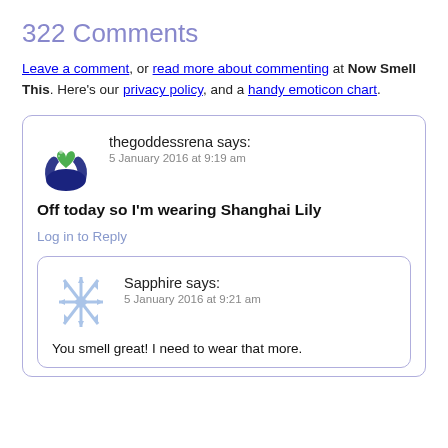322 Comments
Leave a comment, or read more about commenting at Now Smell This. Here's our privacy policy, and a handy emoticon chart.
thegoddessrena says:
5 January 2016 at 9:19 am

Off today so I'm wearing Shanghai Lily

Log in to Reply
Sapphire says:
5 January 2016 at 9:21 am

You smell great! I need to wear that more.